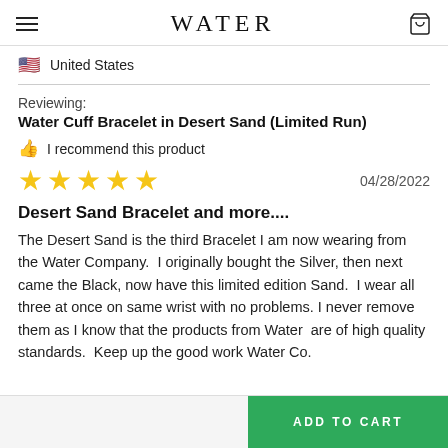WATER
United States
Reviewing:
Water Cuff Bracelet in Desert Sand (Limited Run)
I recommend this product
04/28/2022
Desert Sand Bracelet and more....
The Desert Sand is the third Bracelet I am now wearing from the Water Company.  I originally bought the Silver, then next came the Black, now have this limited edition Sand.  I wear all three at once on same wrist with no problems. I never remove them as I know that the products from Water  are of high quality standards.  Keep up the good work Water Co.
ADD TO CART